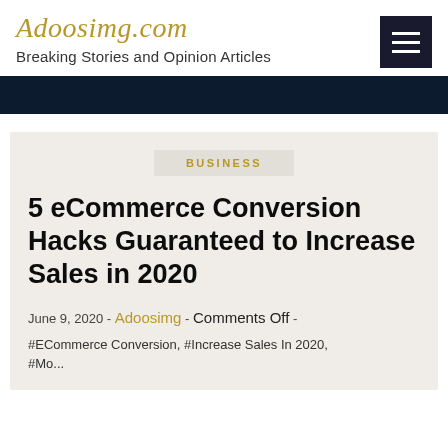Adoosimg.com – Breaking Stories and Opinion Articles
BUSINESS
5 eCommerce Conversion Hacks Guaranteed to Increase Sales in 2020
June 9, 2020 - Adoosimg - Comments Off -
#ECommerce Conversion, #Increase Sales In 2020, #Mo...